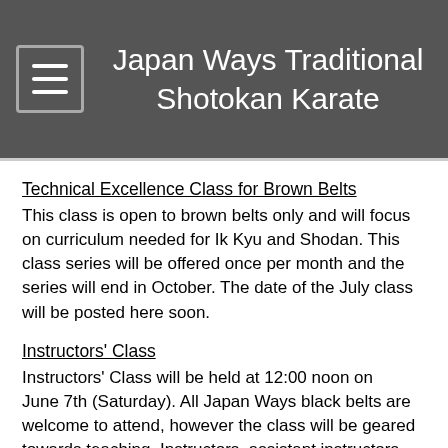Japan Ways Traditional Shotokan Karate
Technical Excellence Class for Brown Belts
This class is open to brown belts only and will focus on curriculum needed for Ik Kyu and Shodan.  This class series will be offered once per month and the series will end in October.   The date of the July class will be posted here soon.
Instructors' Class
Instructors' Class will be held at 12:00 noon on June 7th (Saturday). All Japan Ways black belts are welcome to attend, however the class will be geared towards teaching. Instructors, assistant instructors and those wanting to become assistants must attend.  See Sensei Wong if you have any questions.
Kancho and Sensei Fumitoshi Kanazawa Seminars
Kancho Kanazawa and Sensei Fumitoshi Kanazawa will be teaching in